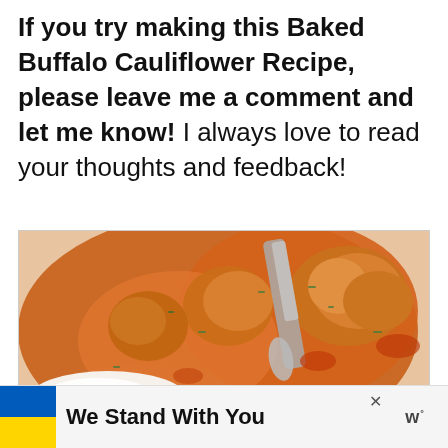If you try making this Baked Buffalo Cauliflower Recipe, please leave me a comment and let me know! I always love to read your thoughts and feedback!
[Figure (photo): Close-up photo of baked buffalo cauliflower with orange sauce, garnished with chives, served in a white bowl with a spreading utensil and a side of white dipping sauce.]
We Stand With You